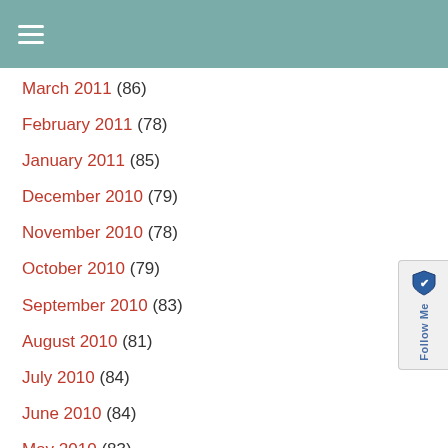☰
March 2011 (86)
February 2011 (78)
January 2011 (85)
December 2010 (79)
November 2010 (78)
October 2010 (79)
September 2010 (83)
August 2010 (81)
July 2010 (84)
June 2010 (84)
May 2010 (83)
April 2010 (82)
March 2010 (89)
February 2010 (81)